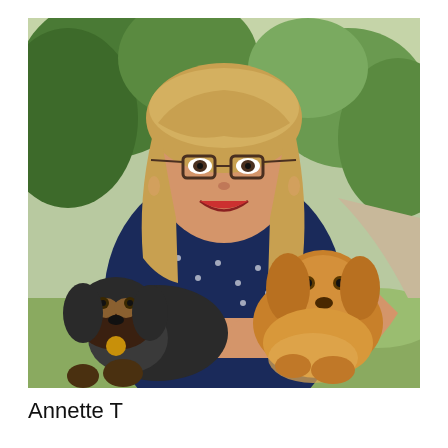[Figure (photo): A smiling woman with blonde hair and glasses wearing a navy blue polka-dot dress, holding two dachshund dogs — one black and tan with a gold tag on the left, and one golden/cream colored with a red collar on the right. She is standing outdoors in front of green trees and shrubs.]
Annette T